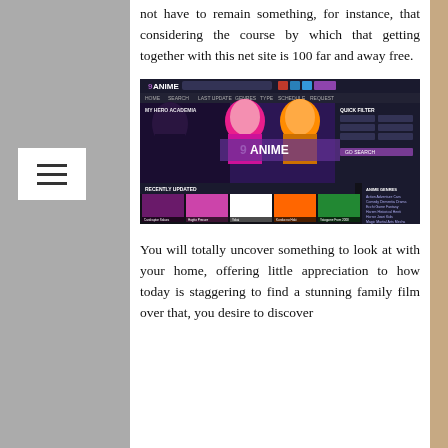not have to remain something, for instance, that considering the course by which that getting together with this net site is 100 far and away free.
[Figure (screenshot): Screenshot of the 9ANIME website showing anime listings including My Hero Academia and other anime series with a dark purple/black interface]
You will totally uncover something to look at with your home, offering little appreciation to how today is staggering to find a stunning family film over that, you desire to discover